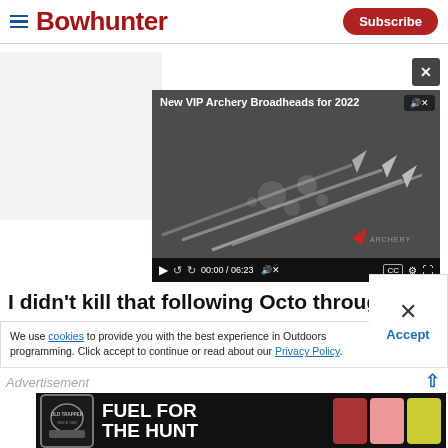Bowhunter | Subscribe
[Figure (screenshot): Video player showing 'New VIP Archery Broadheads for 2022' with broadhead arrows on dark background, timestamp 00:00 / 06:23]
I didn't kill that following Octo through the winter woods, I'd have never filled my
We use cookies to provide you with the best experience in Outdoors programming. Click accept to continue or read about our Privacy Policy.
[Figure (infographic): Old Trapper advertisement: FUEL FOR THE HUNT with product bags shown on dark background]